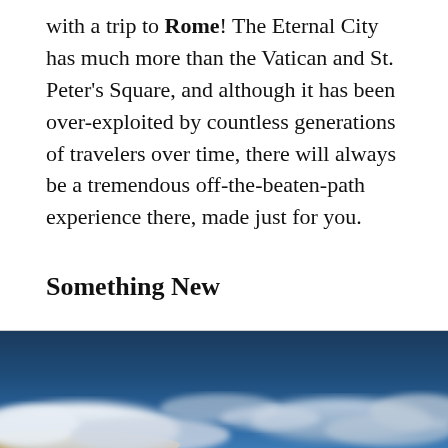with a trip to Rome! The Eternal City has much more than the Vatican and St. Peter's Square, and although it has been over-exploited by countless generations of travelers over time, there will always be a tremendous off-the-beaten-path experience there, made just for you.
Something New
[Figure (photo): A dramatic sky photograph showing deep blue sky with white and grey clouds, taken from a low angle. The lower portion shows some warm golden-toned land or horizon.]